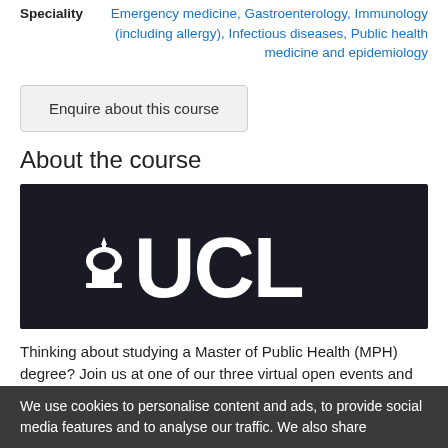Speciality: Emergency medicine, Gastroenterology, Immunology (including allergy), Infectious diseases, Public health medicine and epidemiology
Enquire about this course
About the course
[Figure (logo): UCL (University College London) logo — white text and dome icon on dark background]
Thinking about studying a Master of Public Health (MPH) degree? Join us at one of our three virtual open events and hear directly from the programme director and the team about the brand new
We use cookies to personalise content and ads, to provide social media features and to analyse our traffic. We also share